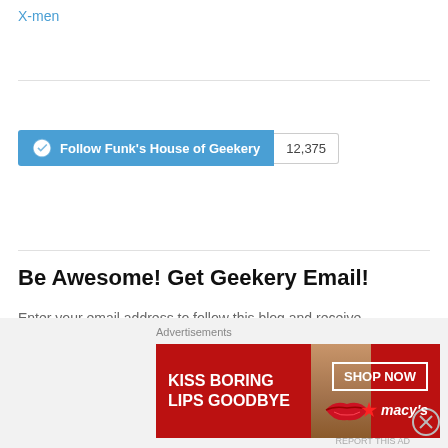X-men
[Figure (screenshot): WordPress Follow button for Funk's House of Geekery with follower count 12,375]
Be Awesome! Get Geekery Email!
Enter your email address to follow this blog and receive notifications of new posts by email.
[Figure (screenshot): Email input field with placeholder text 'Enter your email address']
[Figure (screenshot): Follow button (pill-shaped)]
Join 14,727 other followers
[Figure (screenshot): Advertisement banner: KISS BORING LIPS GOODBYE - SHOP NOW - Macy's]